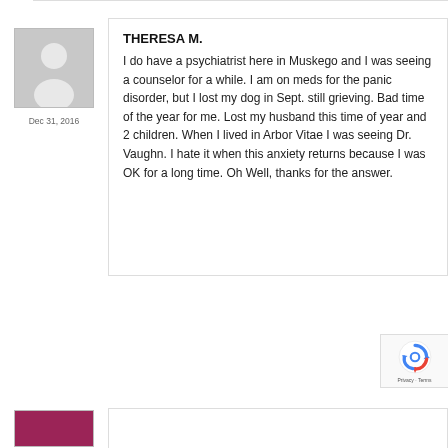THERESA M.
Dec 31, 2016
I do have a psychiatrist here in Muskego and I was seeing a counselor for a while. I am on meds for the panic disorder, but I lost my dog in Sept. still grieving. Bad time of the year for me. Lost my husband this time of year and 2 children. When I lived in Arbor Vitae I was seeing Dr. Vaughn. I hate it when this anxiety returns because I was OK for a long time. Oh Well, thanks for the answer.
[Figure (other): reCAPTCHA badge with recycling arrow icon and Privacy - Terms text]